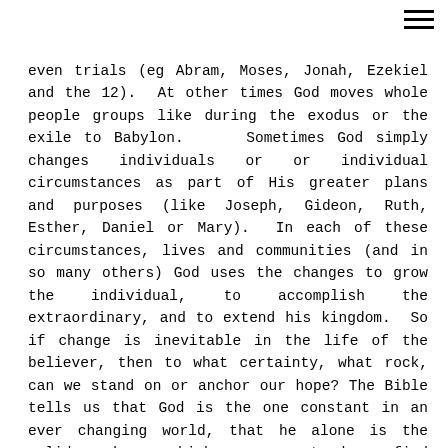even trials (eg Abram, Moses, Jonah, Ezekiel and the 12).  At other times God moves whole people groups like during the exodus or the exile to Babylon.     Sometimes God simply changes individuals or or individual circumstances as part of His greater plans and purposes (like Joseph, Gideon, Ruth, Esther, Daniel or Mary).  In each of these circumstances, lives and communities (and in so many others) God uses the changes to grow the individual, to accomplish the extraordinary, and to extend his kingdom.  So if change is inevitable in the life of the believer, then to what certainty, what rock, can we stand on or anchor our hope?  The Bible tells us that God is the one constant in an ever changing world, that he alone is the solid rock on which we can stand or find anchor